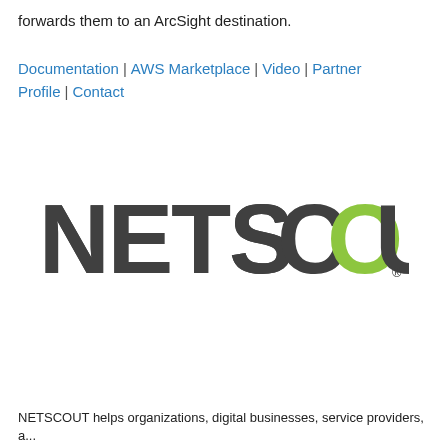forwards them to an ArcSight destination.
Documentation | AWS Marketplace | Video | Partner Profile | Contact
[Figure (logo): NETSCOUT logo with dark gray text and a lime green letter O]
NETSCOUT helps organizations, digital businesses, service providers, a...